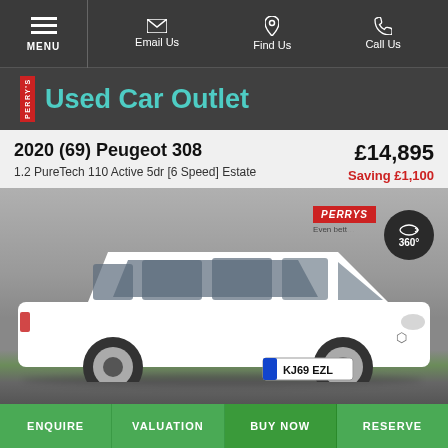MENU | Email Us | Find Us | Call Us
PERRY'S Used Car Outlet
2020 (69) Peugeot 308
1.2 PureTech 110 Active 5dr [6 Speed] Estate
£14,895
Saving £1,100
[Figure (photo): White Peugeot 308 estate car parked in a dealership forecourt, registration plate KJ69 EZL, with Perrys logo and 360° view badge overlaid]
ENQUIRE | VALUATION | BUY NOW | RESERVE